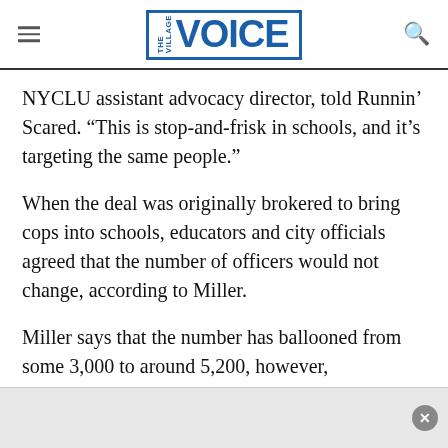the village VOICE
NYCLU assistant advocacy director, told Runnin' Scared. “This is stop-and-frisk in schools, and it’s targeting the same people.”
When the deal was originally brokered to bring cops into schools, educators and city officials agreed that the number of officers would not change, according to Miller.
Miller says that the number has ballooned from some 3,000 to around 5,200, however,